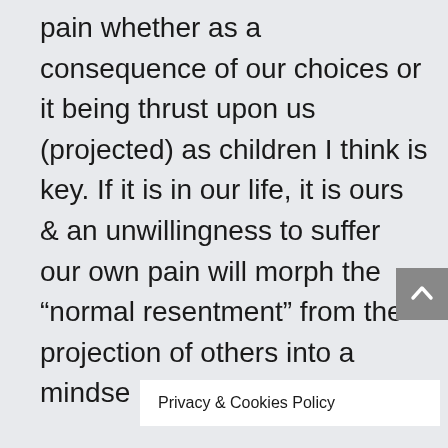pain whether as a consequence of our choices or it being thrust upon us (projected) as children I think is key. If it is in our life, it is ours & an unwillingness to suffer our own pain will morph the “normal resentment” from the projection of others into a mindse
Privacy & Cookies Policy